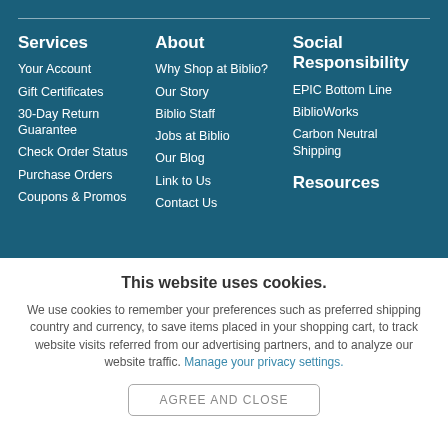Services
Your Account
Gift Certificates
30-Day Return Guarantee
Check Order Status
Purchase Orders
Coupons & Promos
About
Why Shop at Biblio?
Our Story
Biblio Staff
Jobs at Biblio
Our Blog
Link to Us
Contact Us
Social Responsibility
EPIC Bottom Line
BiblioWorks
Carbon Neutral Shipping
Resources
This website uses cookies.
We use cookies to remember your preferences such as preferred shipping country and currency, to save items placed in your shopping cart, to track website visits referred from our advertising partners, and to analyze our website traffic. Manage your privacy settings.